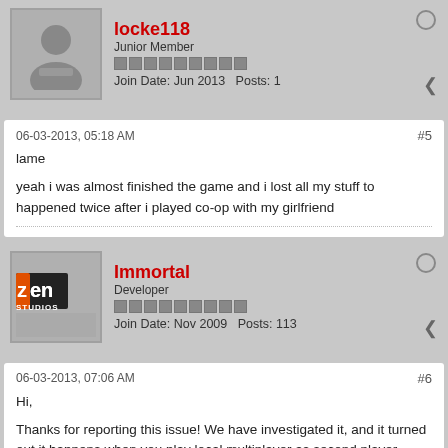locke118
Junior Member
Join Date: Jun 2013   Posts: 1
06-03-2013, 05:18 AM
#5
lame

yeah i was almost finished the game and i lost all my stuff to happened twice after i played co-op with my girlfriend
Immortal
Developer
Join Date: Nov 2009   Posts: 113
06-03-2013, 07:06 AM
#6
Hi,

Thanks for reporting this issue! We have investigated it, and it turned out it happens when you play local multiplayer as second player, signed in with a profile that has single- or multiplayer progression.